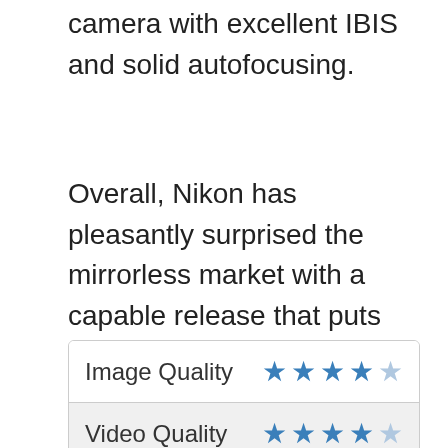camera with excellent IBIS and solid autofocusing.
Overall, Nikon has pleasantly surprised the mirrorless market with a capable release that puts them on the map as a strong contender. The Z6 is an incredibly strong camera and one to watch over the next coming years.
| Category | Rating |
| --- | --- |
| Image Quality | 4/5 stars |
| Video Quality | 4/5 stars |